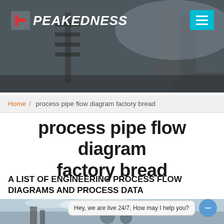[Figure (photo): Industrial facility header banner showing a manufacturing plant with silos and scaffolding against a grey sky, with Peakedness logo and hamburger menu button overlay]
PEAKEDNESS
Home / process pipe flow diagram factory bread
process pipe flow diagram factory bread
A LIST OF ENGINEERING PROCESS FLOW DIAGRAMS AND PROCESS DATA
[Figure (photo): Industrial facility photo showing construction equipment and silos against a cloudy sky, with a live chat widget overlay saying Hey, we are live 24/7. How may I help you?]